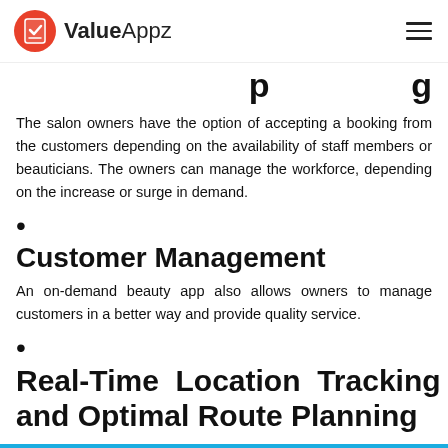ValueAppz
p g
The salon owners have the option of accepting a booking from the customers depending on the availability of staff members or beauticians. The owners can manage the workforce, depending on the increase or surge in demand.
Customer Management
An on-demand beauty app also allows owners to manage customers in a better way and provide quality service.
Real-Time Location Tracking and Optimal Route Planning